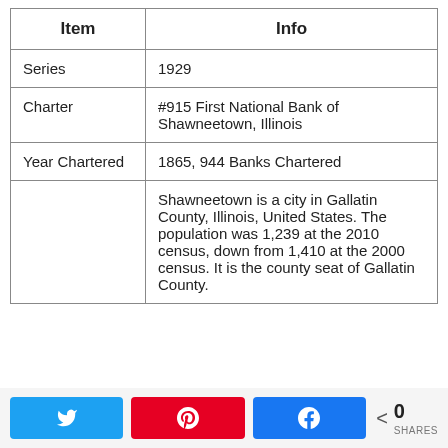| Item | Info |
| --- | --- |
| Series | 1929 |
| Charter | #915 First National Bank of Shawneetown, Illinois |
| Year Chartered | 1865, 944 Banks Chartered |
|  | Shawneetown is a city in Gallatin County, Illinois, United States. The population was 1,239 at the 2010 census, down from 1,410 at the 2000 census. It is the county seat of Gallatin County. |